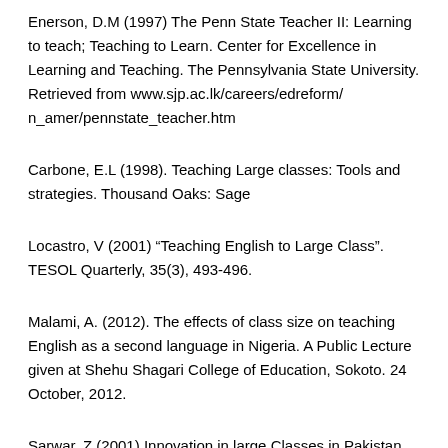Enerson, D.M (1997) The Penn State Teacher II: Learning to teach; Teaching to Learn. Center for Excellence in Learning and Teaching. The Pennsylvania State University. Retrieved from www.sjp.ac.lk/careers/edreform/ n_amer/pennstate_teacher.htm
Carbone, E.L (1998). Teaching Large classes: Tools and strategies. Thousand Oaks: Sage
Locastro, V (2001) “Teaching English to Large Class”. TESOL Quarterly, 35(3), 493-496.
Malami, A. (2012). The effects of class size on teaching English as a second language in Nigeria. A Public Lecture given at Shehu Shagari College of Education, Sokoto. 24 October, 2012.
Sarwar, Z (2001) Innovation in large Classes in Pakistan. TESOL Quarterly, 35(3), 496-
Keng, A. K (2004). Teaching a Very Large Class: What to do?